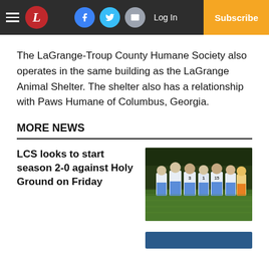LaGrange Daily News – Log In | Subscribe
The LaGrange-Troup County Humane Society also operates in the same building as the LaGrange Animal Shelter. The shelter also has a relationship with Paws Humane of Columbus, Georgia.
MORE NEWS
LCS looks to start season 2-0 against Holy Ground on Friday
[Figure (photo): Football players in white and blue uniforms posing together on a field at night]